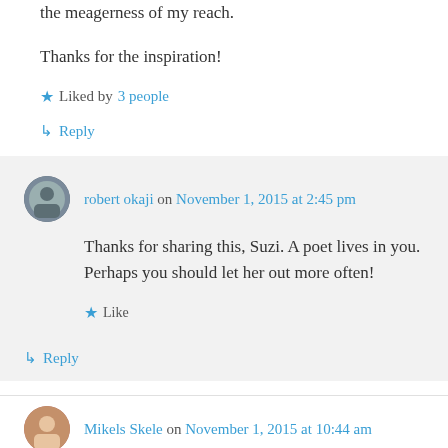the meagerness of my reach.
Thanks for the inspiration!
★ Liked by 3 people
↳ Reply
robert okaji on November 1, 2015 at 2:45 pm
Thanks for sharing this, Suzi. A poet lives in you. Perhaps you should let her out more often!
★ Like
↳ Reply
Mikels Skele on November 1, 2015 at 10:44 am